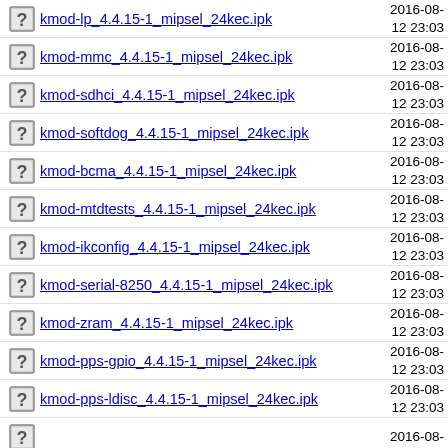kmod-lp_4.4.15-1_mipsel_24kec.ipk
kmod-mmc_4.4.15-1_mipsel_24kec.ipk
kmod-sdhci_4.4.15-1_mipsel_24kec.ipk
kmod-softdog_4.4.15-1_mipsel_24kec.ipk
kmod-bcma_4.4.15-1_mipsel_24kec.ipk
kmod-mtdtests_4.4.15-1_mipsel_24kec.ipk
kmod-ikconfig_4.4.15-1_mipsel_24kec.ipk
kmod-serial-8250_4.4.15-1_mipsel_24kec.ipk
kmod-zram_4.4.15-1_mipsel_24kec.ipk
kmod-pps-gpio_4.4.15-1_mipsel_24kec.ipk
kmod-pps-ldisc_4.4.15-1_mipsel_24kec.ipk